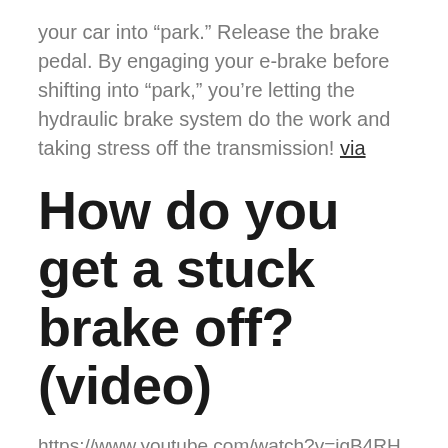your car into “park.” Release the brake pedal. By engaging your e-brake before shifting into “park,” you’re letting the hydraulic brake system do the work and taking stress off the transmission! via
How do you get a stuck brake off? (video)
https://www.youtube.com/watch?v=iqB4RHvk_wk
Should you